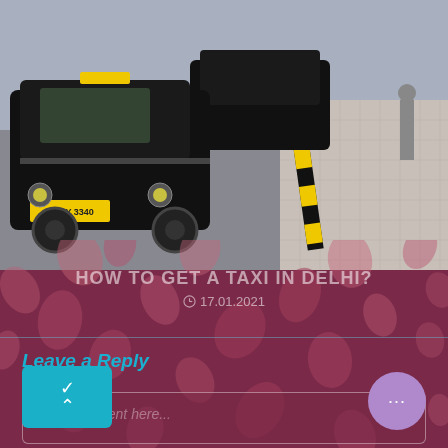[Figure (photo): Street scene with black taxi cab (Ambassador car) in Delhi traffic, sidewalk with black and yellow striped bollard visible on right side]
HOW TO GET A TAXI IN DELHI?
17.01.2021
Leave a Reply
Your comment here...